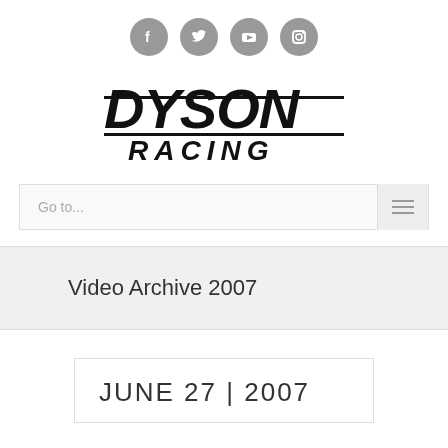[Figure (logo): Social media icon buttons: Facebook, Twitter, YouTube, Instagram - grey circles with white icons]
[Figure (logo): Dyson Racing logo in bold black italic lettering]
Go to...
Video Archive 2007
JUNE 27 | 2007